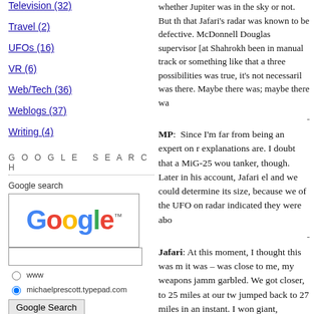Television (32)
Travel (2)
UFOs (16)
VR (6)
Web/Tech (36)
Weblogs (37)
Writing (4)
GOOGLE SEARCH
Google search
[Figure (logo): Google logo in colorful letters with trademark symbol]
ARCHIVES
April 2021
whether Jupiter was in the sky or not. But th... that Jafari's radar was known to be defective... McDonnell Douglas supervisor [at Shahrokh... been in manual track or something like that a... three possibilities was true, it's not necessaril... was there. Maybe there was; maybe there wa...
MP: Since I'm far from being an expert on r... explanations are. I doubt that a MiG-25 wou... tanker, though. Later in his account, Jafari el... and we could determine its size, because we... of the UFO on radar indicated they were abo...
Jafari: At this moment, I thought this was m... it was – was close to me, my weapons jamm... garbled. We got closer, to 25 miles at our tw... jumped back to 27 miles in an instant. I won... giant, brilliant diamond shape with pulsating...
Skeptoid: The McDonnell Douglas tech at S...